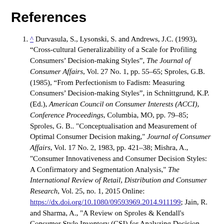References
^ Durvasula, S., Lysonski, S. and Andrews, J.C. (1993), “Cross-cultural Generalizability of a Scale for Profiling Consumers’ Decision-making Styles”, The Journal of Consumer Affairs, Vol. 27 No. 1, pp. 55–65; Sproles, G.B. (1985), “From Perfectionism to Fadism: Measuring Consumers’ Decision-making Styles”, in Schnittgrund, K.P. (Ed.), American Council on Consumer Interests (ACCI), Conference Proceedings, Columbia, MO, pp. 79–85; Sproles, G. B.. "Conceptualisation and Measurement of Optimal Consumer Decision making," Journal of Consumer Affairs, Vol. 17 No. 2, 1983, pp. 421–38; Mishra, A., "Consumer Innovativeness and Consumer Decision Styles: A Confirmatory and Segmentation Analysis," The International Review of Retail, Distribution and Consumer Research, Vol. 25, no. 1, 2015 Online: https://dx.doi.org/10.1080/09593969.2014.911199; Jain, R. and Sharma, A., "A Review on Sproles & Kendall's Consumer Style Inventory (CSI) for Analyzing Decision Making Styles of Consumers," Indian Journal of Marketing, Vol. 43, no. 3, 2013; Sproles, G. B., & Kendall, E. L., "A Methodology for Profiling Consumers' Decision-making